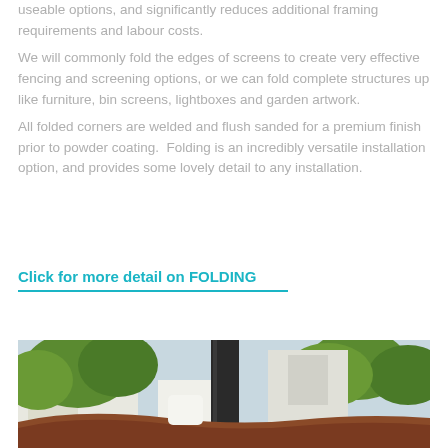useable options, and significantly reduces additional framing requirements and labour costs.
We will commonly fold the edges of screens to create very effective fencing and screening options, or we can fold complete structures up like furniture, bin screens, lightboxes and garden artwork.
All folded corners are welded and flush sanded for a premium finish prior to powder coating.  Folding is an incredibly versatile installation option, and provides some lovely detail to any installation.
Click for more detail on FOLDING
[Figure (photo): Outdoor photograph showing a dark metal pole/post in the foreground against a blurred background of green trees, white buildings and outdoor structures. A brown/reddish curved element is visible in the lower portion.]